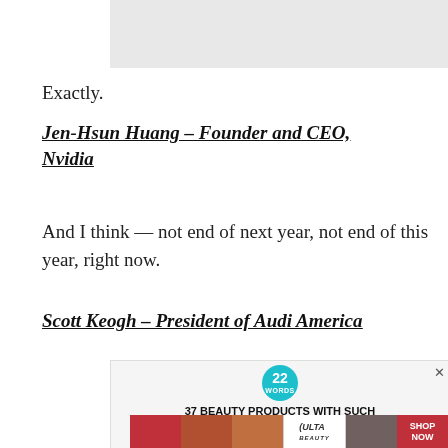[Figure (photo): Gray/light colored image bar at top of page]
Exactly.
Jen-Hsun Huang – Founder and CEO, Nvidia
And I think — not end of next year, not end of this year, right now.
Scott Keogh – President of Audi America
[Figure (screenshot): Advertisement: 22 Words logo circle and '37 BEAUTY PRODUCTS WITH SUCH GOOD REVIEWS YOU MIGHT WANT TO TRY THEM YOURSELF' with close button]
[Figure (screenshot): Ulta Beauty advertisement banner at bottom with cosmetic product images and SHOP NOW call to action]